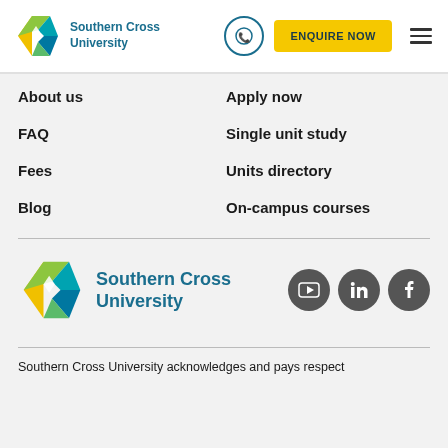Southern Cross University — ENQUIRE NOW navigation header
About us
Apply now
FAQ
Single unit study
Fees
Units directory
Blog
On-campus courses
[Figure (logo): Southern Cross University logo with colourful diamond/shield shape in yellow, green, teal and social media icons for YouTube, LinkedIn, Facebook]
Southern Cross University acknowledges and pays respect